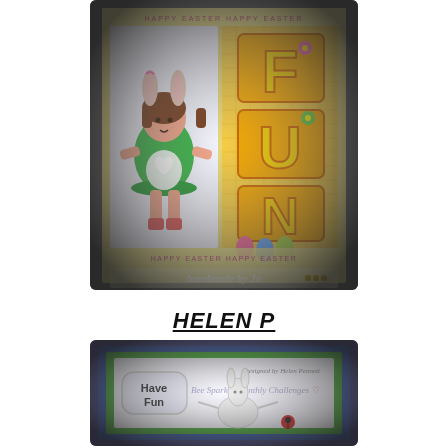[Figure (photo): Handmade Easter card showing a girl with bunny ears holding a white heart/bunny, next to colorful FUN letters on yellow gingham patterned paper. Text at bottom reads 'handmade by Jo'. Card has decorative Easter ribbon border.]
HELEN P
[Figure (photo): Handmade card on blue and green layered background with white panel. Shows a bunny sketch and speech bubble with 'Have Fun'. Handwritten text overlay reads 'Bee Sparkle Monthly Challenges'. Designed by Helen Pennett.]